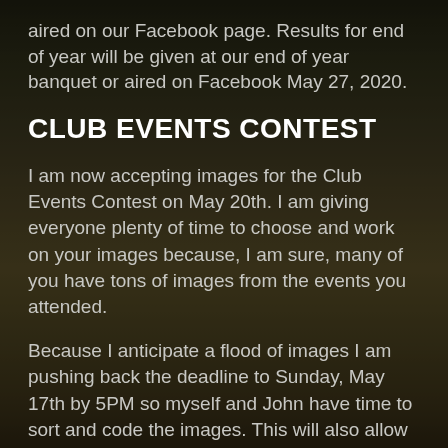aired on our Facebook page. Results for end of year will be given at our end of year banquet or aired on Facebook May 27, 2020.
CLUB EVENTS CONTEST
I am now accepting images for the Club Events Contest on May 20th. I am giving everyone plenty of time to choose and work on your images because, I am sure, many of you have tons of images from the events you attended.
Because I anticipate a flood of images I am pushing back the deadline to Sunday, May 17th by 5PM so myself and John have time to sort and code the images. This will also allow any resubmissions if needed due to sizing errors etc.